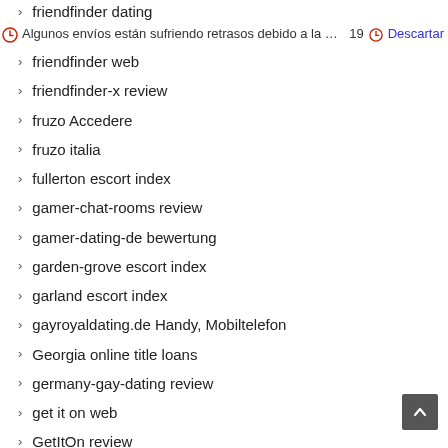friendfinder dating
Algunos envíos están sufriendo retrasos debido a la crisis del Covid-19  Descartar
friendfinder web
friendfinder-x review
fruzo Accedere
fruzo italia
fullerton escort index
gamer-chat-rooms review
gamer-dating-de bewertung
garden-grove escort index
garland escort index
gayroyaldating.de Handy, Mobiltelefon
Georgia online title loans
germany-gay-dating review
get it on web
GetItOn review